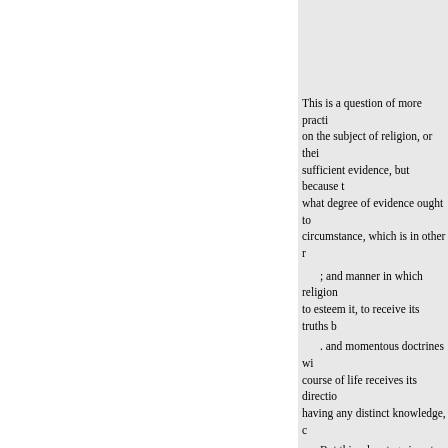This is a question of more practi on the subject of religion, or thei sufficient evidence, but because what degree of evidence ought to circumstance, which is in other r
; and manner in which religion to esteem it, to receive its truths b
. and momentous doctrines wi course of life receives its directio having any distinct knowledge, c
But this advantage is not pure For our religion, pure
and perfect as it is in itself, thus with human corruptions. When trust becomes a subject of exam
* See Todd's Inquiry into the
proceed under the disadvantage t discovery of what is false and er influence of the prejudice thus ex